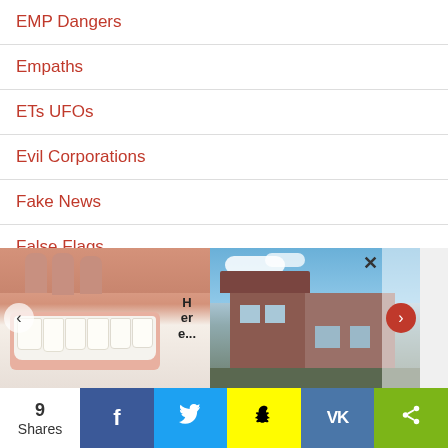EMP Dangers
Empaths
ETs UFOs
Evil Corporations
Fake News
False Flags
Fasting
Federal Reserve
FEMA
[Figure (photo): Close-up photo of a person's mouth showing teeth and fingers, with text overlay 'Here...']
[Figure (photo): Photo of a modern house with text overlay 'New']
9 Shares | Facebook | Twitter | Snapchat | VK | Share